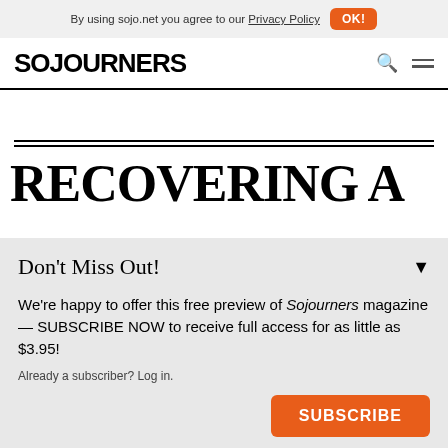By using sojo.net you agree to our Privacy Policy  OK!
[Figure (logo): SOJOURNERS logo in bold black uppercase letters with search and menu icons]
RECOVERING A
Don't Miss Out!
We're happy to offer this free preview of Sojourners magazine — SUBSCRIBE NOW to receive full access for as little as $3.95!
Already a subscriber? Log in.
SUBSCRIBE